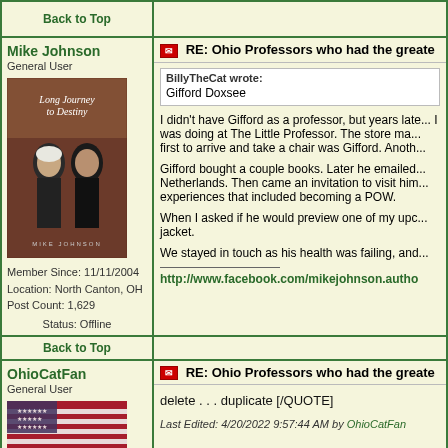Back to Top
Mike Johnson
General User
Member Since: 11/11/2004
Location: North Canton, OH
Post Count: 1,629
Status: Offline
RE: Ohio Professors who had the greate...
BillyTheCat wrote:
Gifford Doxsee
I didn't have Gifford as a professor, but years late... I was doing at The Little Professor. The store ma... first to arrive and take a chair was Gifford. Anoth...

Gifford bought a couple books. Later he emailed... Netherlands. Then came an invitation to visit him... experiences that included becoming a POW.

When I asked if he would preview one of my upc... jacket.

We stayed in touch as his health was failing, and...
http://www.facebook.com/mikejohnson.autho...
Back to Top
OhioCatFan
General User
RE: Ohio Professors who had the greate...
delete . . . duplicate [/QUOTE]
Last Edited: 4/20/2022 9:57:44 AM by OhioCatFan